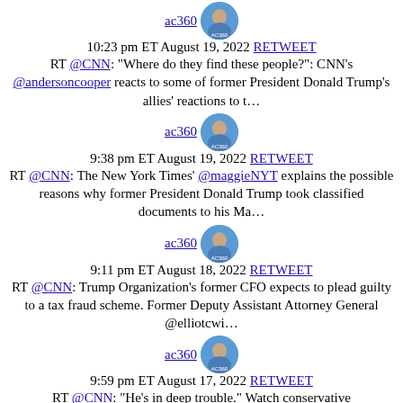ac360 [avatar] 10:23 pm ET August 19, 2022 RETWEET RT @CNN: "Where do they find these people?": CNN's @andersoncooper reacts to some of former President Donald Trump's allies' reactions to t…
ac360 [avatar] 9:38 pm ET August 19, 2022 RETWEET RT @CNN: The New York Times' @maggieNYT explains the possible reasons why former President Donald Trump took classified documents to his Ma…
ac360 [avatar] 9:11 pm ET August 18, 2022 RETWEET RT @CNN: Trump Organization's former CFO expects to plead guilty to a tax fraud scheme. Former Deputy Assistant Attorney General @elliotcwi…
ac360 [avatar] 9:59 pm ET August 17, 2022 RETWEET RT @CNN: "He's in deep trouble." Watch conservative l@gtconway3dnway3d react to news that Rudy Giuliani is a target in the Georgia 2020 el…
ac360 [avatar] (partial)